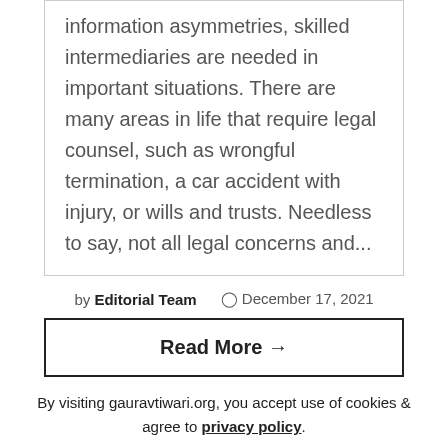information asymmetries, skilled intermediaries are needed in important situations. There are many areas in life that require legal counsel, such as wrongful termination, a car accident with injury, or wills and trusts. Needless to say, not all legal concerns and...
by Editorial Team  ⊙ December 17, 2021
Read More →
By visiting gauravtiwari.org, you accept use of cookies & agree to privacy policy.